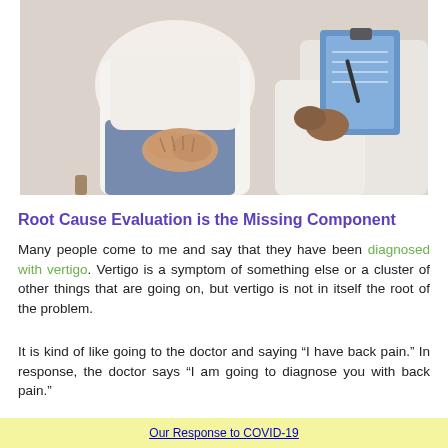[Figure (photo): A patient sitting with hands clasped in their lap wearing jeans and white shirt, facing a medical professional in white coat holding a clipboard, taken from torso down perspective in a clinical consultation setting.]
Root Cause Evaluation is the Missing Component
Many people come to me and say that they have been diagnosed with vertigo. Vertigo is a symptom of something else or a cluster of other things that are going on, but vertigo is not in itself the root of the problem.
It is kind of like going to the doctor and saying “I have back pain.” In response, the doctor says “I am going to diagnose you with back pain.”
Our Response to COVID-19